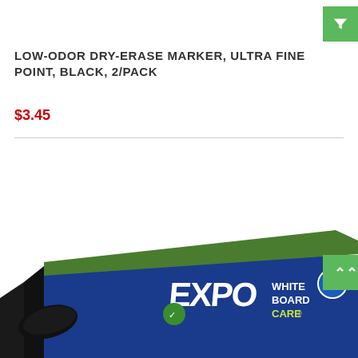[Figure (other): Green filter/funnel icon button in top right corner]
LOW-ODOR DRY-ERASE MARKER, ULTRA FINE POINT, BLACK, 2/PACK
$3.45
[Figure (photo): EXPO White Board Care product box — dark blue and green packaging with EXPO logo and whiteboard markers visible]